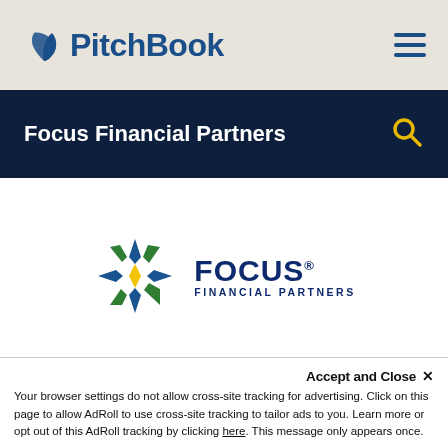PitchBook
Focus Financial Partners
[Figure (logo): Focus Financial Partners logo: a geometric hexagonal snowflake/star shape in blue, green, and yellow, with 'FOCUS FINANCIAL PARTNERS' text in dark blue to its right.]
Accept and Close ×
Your browser settings do not allow cross-site tracking for advertising. Click on this page to allow AdRoll to use cross-site tracking to tailor ads to you. Learn more or opt out of this AdRoll tracking by clicking here. This message only appears once.